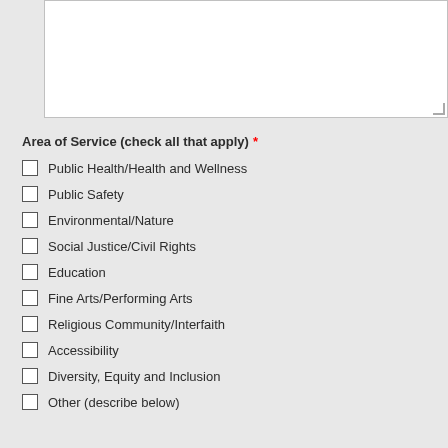[Text area input field]
Area of Service (check all that apply) *
Public Health/Health and Wellness
Public Safety
Environmental/Nature
Social Justice/Civil Rights
Education
Fine Arts/Performing Arts
Religious Community/Interfaith
Accessibility
Diversity, Equity and Inclusion
Other (describe below)
[Text area input field]